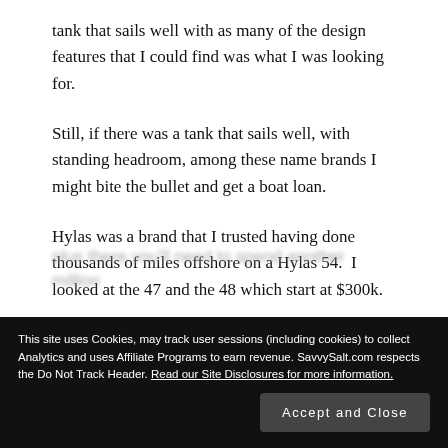tank that sails well with as many of the design features that I could find was what I was looking for.
Still, if there was a tank that sails well, with standing headroom, among these name brands I might bite the bullet and get a boat loan.
Hylas was a brand that I trusted having done thousands of miles offshore on a Hylas 54.  I looked at the 47 and the 48 which start at $300k.
plus there you'll need to spend another million
This site uses Cookies, may track user sessions (including cookies) to collect Analytics and uses Affiliate Programs to earn revenue. SavvySalt.com respects the Do Not Track Header. Read our Site Disclosures for more information.